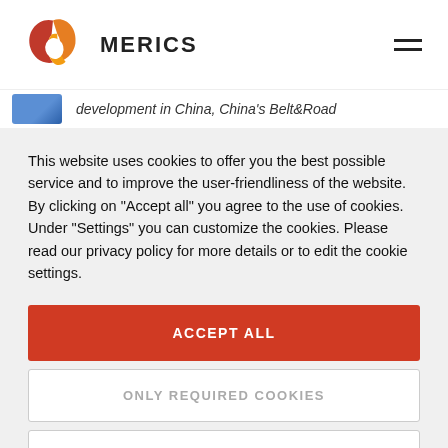[Figure (logo): MERICS logo — colorful twisted ribbon shape in red, orange, yellow, and dark red, followed by MERICS brand name text]
development in China, China's Belt&Road
This website uses cookies to offer you the best possible service and to improve the user-friendliness of the website. By clicking on "Accept all" you agree to the use of cookies. Under "Settings" you can customize the cookies. Please read our privacy policy for more details or to edit the cookie settings.
ACCEPT ALL
ONLY REQUIRED COOKIES
SETTINGS